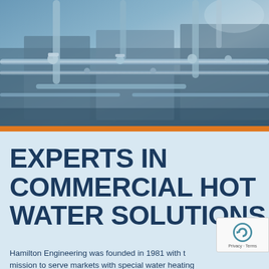[Figure (photo): Industrial water heating equipment with pipes and plumbing components, photographed with a blue-toned color treatment. Various metal pipes, valves, and fittings are visible.]
EXPERTS IN COMMERCIAL HOT WATER SOLUTIONS
Hamilton Engineering was founded in 1981 with the mission to serve markets with special water heating